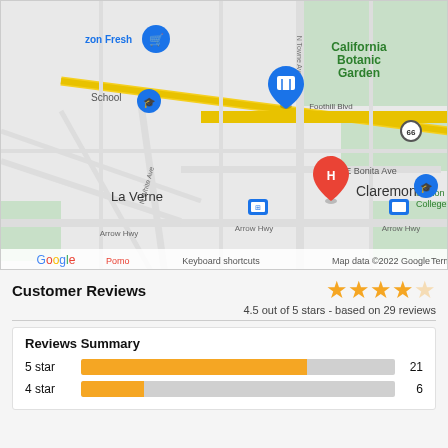[Figure (map): Google Map showing area around La Verne and Claremont, CA. Shows Foothill Blvd, E Bonita Ave, Arrow Hwy, N White Ave, N Towne Ave. Markers include Amazon Fresh, a storage facility (main location pin), California Botanic Garden, Pomona College, and an H (hotel) marker. Google branding and 'Map data ©2022 Google' attribution visible.]
Customer Reviews
4.5 out of 5 stars - based on 29 reviews
Reviews Summary
5 star  21
4 star  6